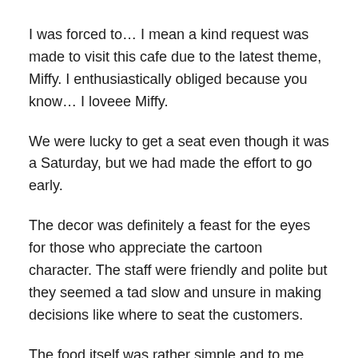I was forced to… I mean a kind request was made to visit this cafe due to the latest theme, Miffy. I enthusiastically obliged because you know… I loveee Miffy.
We were lucky to get a seat even though it was a Saturday, but we had made the effort to go early.
The decor was definitely a feast for the eyes for those who appreciate the cartoon character. The staff were friendly and polite but they seemed a tad slow and unsure in making decisions like where to seat the customers.
The food itself was rather simple and to me, boring.